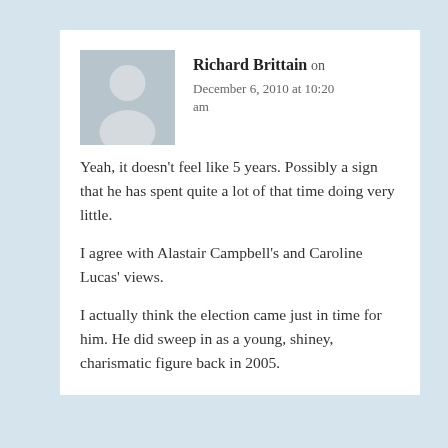[Figure (photo): Grey placeholder avatar silhouette icon for a user profile picture]
Richard Brittain on December 6, 2010 at 10:20 am
Yeah, it doesn't feel like 5 years. Possibly a sign that he has spent quite a lot of that time doing very little.
I agree with Alastair Campbell's and Caroline Lucas' views.
I actually think the election came just in time for him. He did sweep in as a young, shiney, charismatic figure back in 2005.